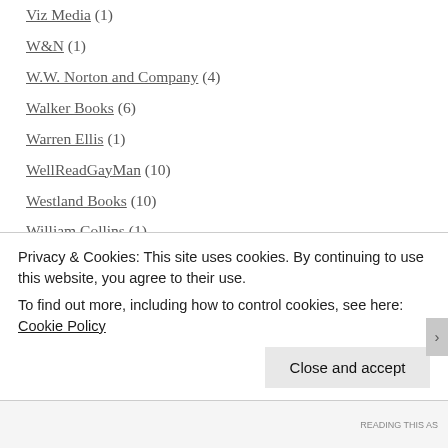Viz Media (1)
W&N (1)
W.W. Norton and Company (4)
Walker Books (6)
Warren Ellis (1)
WellReadGayMan (10)
Westland Books (10)
William Collins (1)
William Dalrymple (1)
William Morrow (7)
William Shakespeare (1)
William Trevor (1)
WITMonth (1)
Privacy & Cookies: This site uses cookies. By continuing to use this website, you agree to their use. To find out more, including how to control cookies, see here: Cookie Policy